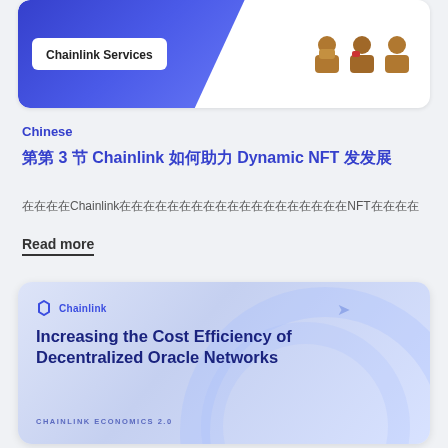[Figure (screenshot): Top card with blue gradient background showing 'Chainlink Services' text and avatar illustrations]
Chinese
第 3 节 Chainlink 如何助力 Dynamic NFT 发展
在本节中,Chainlink将介绍如何创建一个动态NFT的完整实例。
Read more
[Figure (screenshot): Chainlink branded card with blue gradient background, hexagon logo, title 'Increasing the Cost Efficiency of Decentralized Oracle Networks' and subtitle 'CHAINLINK ECONOMICS 2.0']